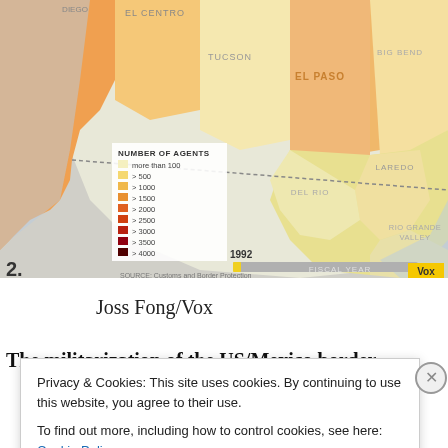[Figure (map): Interactive map of US Border Patrol sectors along the US/Mexico border showing number of agents per sector. Legend shows color scale from light yellow (more than 100) to dark brown (>4000). Sectors labeled include El Centro, Tucson, El Paso, Big Bend, Laredo, Del Rio, Rio Grande Valley. Year slider shows 1992. Source: Customs and Border Protection. Vox logo in corner.]
2.
Joss Fong/Vox
The militarization of the US/Mexico border
Privacy & Cookies: This site uses cookies. By continuing to use this website, you agree to their use.
To find out more, including how to control cookies, see here: Cookie Policy